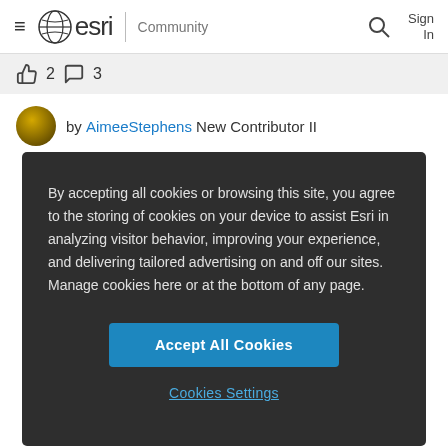esri Community
👍 2  💬 3
by AimeeStephens New Contributor II in ArcGIS StoryMaps Ideas
By accepting all cookies or browsing this site, you agree to the storing of cookies on your device to assist Esri in analyzing visitor behavior, improving your experience, and delivering tailored advertising on and off our sites. Manage cookies here or at the bottom of any page.
Accept All Cookies
Cookies Settings